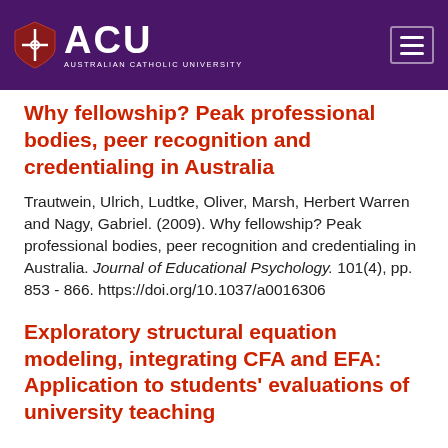[Figure (logo): Australian Catholic University (ACU) logo with shield and text on purple header background, with hamburger menu icon on the right]
Why fellowship? Peak professional bodies, peer recognition and credentialing in Australia
Trautwein, Ulrich, Ludtke, Oliver, Marsh, Herbert Warren and Nagy, Gabriel. (2009). Why fellowship? Peak professional bodies, peer recognition and credentialing in Australia. Journal of Educational Psychology. 101(4), pp. 853 - 866. https://doi.org/10.1037/a0016306
Exploratory structural equation modeling, integrating CFA and EFA: Application to students' evaluations of university teaching